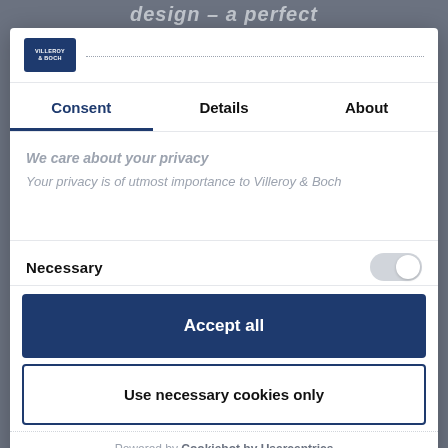design – a perfect
[Figure (logo): Villeroy & Boch logo in dark blue rectangle]
Consent	Details	About
We care about your privacy
Your privacy is of utmost importance to Villeroy & Boch
Necessary
Accept all
Use necessary cookies only
Powered by Cookiebot by Usercentrics